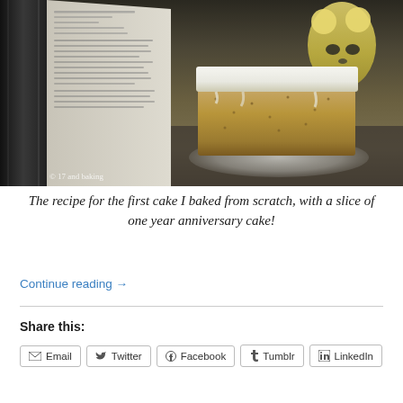[Figure (photo): A slice of cake with white frosting on a glass plate, next to an open cookbook and a stuffed animal, with watermark '© 17 and baking']
The recipe for the first cake I baked from scratch, with a slice of one year anniversary cake!
Continue reading →
Share this:
Email  Twitter  Facebook  Tumblr  LinkedIn